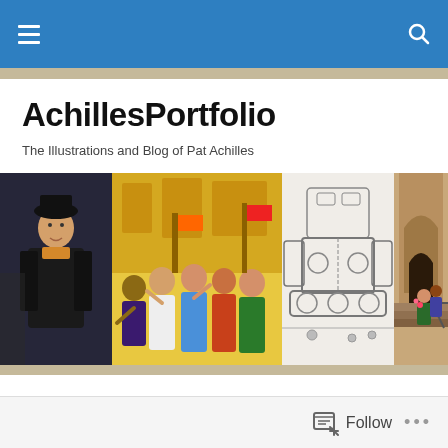AchillesPortfolio
The Illustrations and Blog of Pat Achilles
[Figure (illustration): A horizontal strip of four illustration panels: (1) a man in a dark coat and hat; (2) a colorful crowd scene with many figures in historical costumes; (3) a pencil-sketch of a large mechanical robot/machine; (4) a color illustration of people on steps of a brownstone building.]
In Other News
[Figure (photo): Partial thumbnail image strip at the bottom of the page, mostly dark/black with a hint of content in the center.]